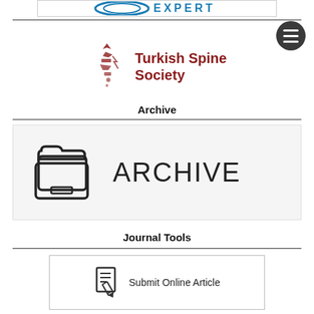[Figure (logo): Partial EXPERT logo banner at top of page]
[Figure (logo): Turkish Spine Society logo with stylized spine icon and dark red text]
Archive
[Figure (illustration): Archive icon (stacked file folders) with large text ARCHIVE on light grey background]
Journal Tools
[Figure (illustration): Submit Online Article button with document/pencil icon]